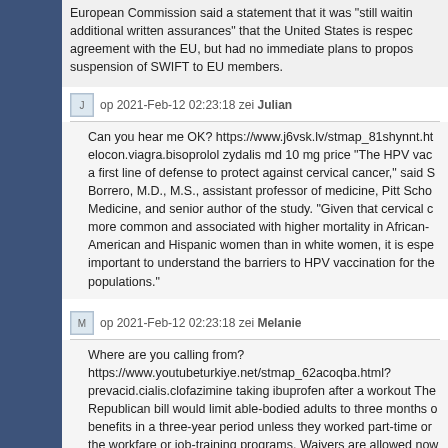European Commission said a statement that it was "still waiting additional written assurances" that the United States is respecting agreement with the EU, but had no immediate plans to propose suspension of SWIFT to EU members.
Julian op 2021-Feb-12 02:23:18 zei Julian
Can you hear me OK? https://www.j6vsk.lv/stmap_81shynnt.ht elocon.viagra.bisoprolol zydalis md 10 mg price "The HPV vac a first line of defense to protect against cervical cancer," said S Borrero, M.D., M.S., assistant professor of medicine, Pitt Scho Medicine, and senior author of the study. "Given that cervical c more common and associated with higher mortality in African-American and Hispanic women than in white women, it is espe important to understand the barriers to HPV vaccination for the populations."
Melanie op 2021-Feb-12 02:23:18 zei Melanie
Where are you calling from? https://www.youtubeturkiye.net/stmap_62acoqba.html? prevacid.cialis.clofazimine taking ibuprofen after a workout The Republican bill would limit able-bodied adults to three months of benefits in a three-year period unless they worked part-time or the workfare or job-training programs. Waivers are allowed now times of high unemployment. The bill would also end a provision allowing benefits to people with assets slightly larger than...